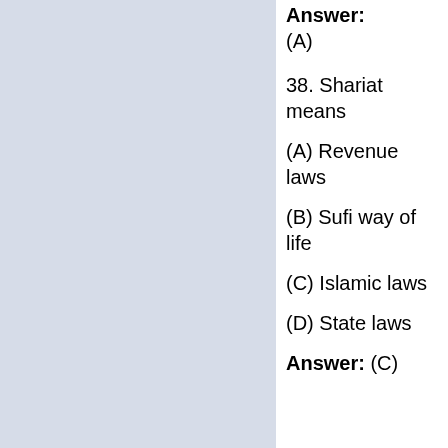Answer: (A)
38. Shariat means
(A) Revenue laws
(B) Sufi way of life
(C) Islamic laws
(D) State laws
Answer: (C)